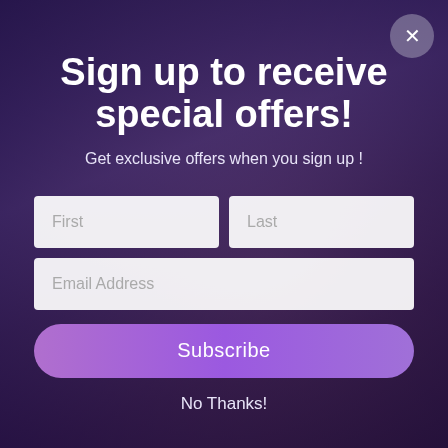[Figure (screenshot): Dark purple blurred concert/nightclub background with people silhouettes and stage lighting.]
Sign up to receive special offers!
Get exclusive offers when you sign up !
First
Last
Email Address
Subscribe
No Thanks!